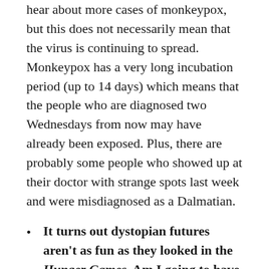hear about more cases of monkeypox, but this does not necessarily mean that the virus is continuing to spread. Monkeypox has a very long incubation period (up to 14 days) which means that the people who are diagnosed two Wednesdays from now may have already been exposed. Plus, there are probably some people who showed up at their doctor with strange spots last week and were misdiagnosed as a Dalmatian.
It turns out dystopian futures aren't as fun as they looked in the Hunger Games. Am I going to have to go back to the abandoned K-Mart to get another shot? Probably not, and wasn't it a Sears? This isn't COVID-19. Widespread outbreaks are unlikely as this requires much